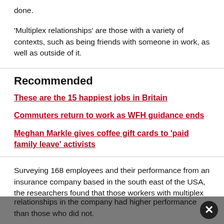done.
'Multiplex relationships' are those with a variety of contexts, such as being friends with someone in work, as well as outside of it.
Recommended
These are the 15 happiest jobs in Britain
Commuters return to work as WFH guidance ends
Meghan Markle gives coffee gift cards to 'paid family leave' activists
Surveying 168 employees and their performance from an insurance company based in the south east of the USA, the researchers found that those workers with multiplex relationships in the company had higher performance than those who did not.